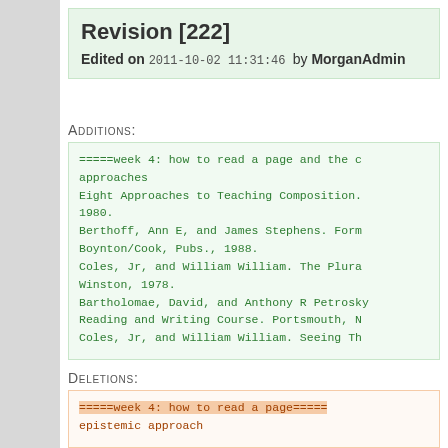Revision [222]
Edited on 2011-10-02 11:31:46 by MorganAdmin
Additions:
=====week 4: how to read a page and the c... approaches
Eight Approaches to Teaching Composition. 1980.
Berthoff, Ann E, and James Stephens. Form... Boynton/Cook, Pubs., 1988.
Coles, Jr, and William William. The Plura... Winston, 1978.
Bartholomae, David, and Anthony R Petrosky Reading and Writing Course. Portsmouth, NH Coles, Jr, and William William. Seeing Th...
Deletions:
=====week 4: how to read a page===== epistemic approach